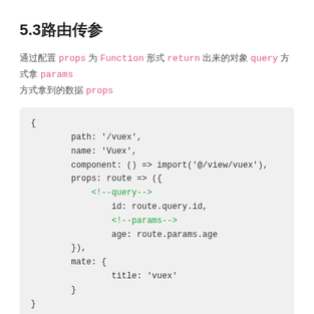5.3路由传参
通过配置 props 为 Function 形式 return 出来的对象 query 方式拿 params 方式拿到的数据 props
[Figure (screenshot): Code block showing route configuration with props as a function, including query and params comments in green]
如下